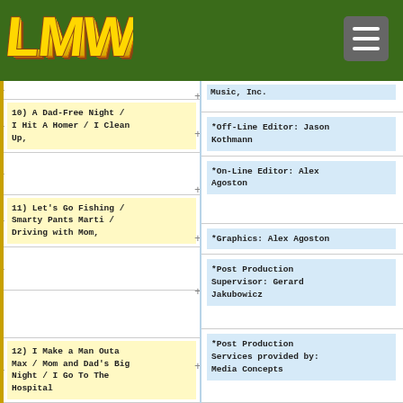LMW logo and navigation
10) A Dad-Free Night / I Hit A Homer / I Clean Up,
*Off-Line Editor: Jason Kothmann
*On-Line Editor: Alex Agoston
11) Let's Go Fishing / Smarty Pants Marti / Driving with Mom,
*Graphics: Alex Agoston
*Post Production Supervisor: Gerard Jakubowicz
12) I Make a Man Outa Max / Mom and Dad's Big Night / I Go To The Hospital
*Post Production Services provided by: Media Concepts